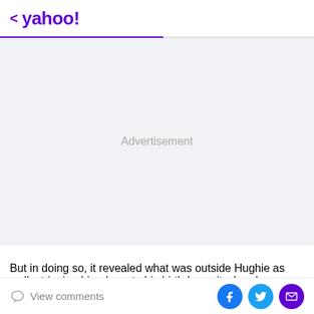< yahoo!
[Figure (other): Advertisement placeholder area with light gray background and centered 'Advertisement' label]
But in doing so, it revealed what was outside Hughie as well, stripping him down to his birthday suit when he
View comments | Facebook share | Twitter share | Email share